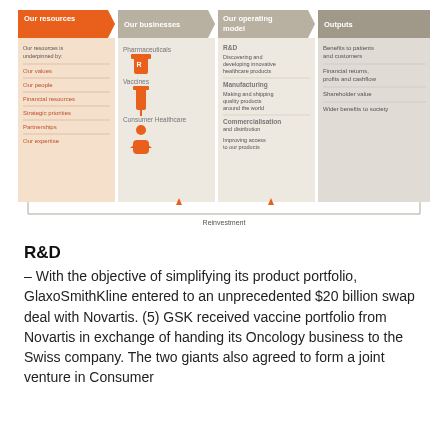[Figure (infographic): Business model infographic with four columns: Our resources (orange, with values/people/financial resources/strategic priorities/partnerships/expertise), Our businesses (beige, with Pharmaceuticals/Vaccines/Consumer Healthcare icons), Our operating model (beige, with R&D, Manufacturing, Commercialisation sections), Outputs (gray, with Benefits to patients and customers/Financial returns profits and cashflow/Shareholder value/Wider benefits to society). A reinvestment arrow loops at the bottom.]
R&D
– With the objective of simplifying its product portfolio, GlaxoSmithKline entered to an unprecedented $20 billion swap deal with Novartis. (5) GSK received vaccine portfolio from Novartis in exchange of handing its Oncology business to the Swiss company. The two giants also agreed to form a joint venture in Consumer Healthcare. Consequent on the first swap deal,